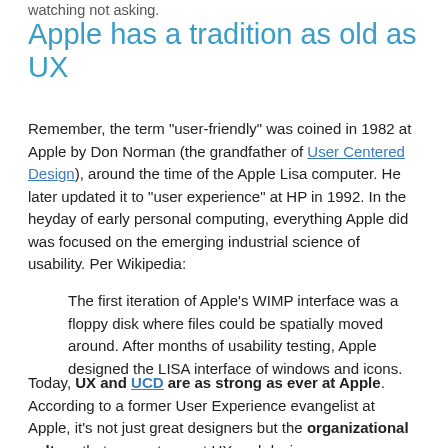watching not asking.
Apple has a tradition as old as UX
Remember, the term "user-friendly" was coined in 1982 at Apple by Don Norman (the grandfather of User Centered Design), around the time of the Apple Lisa computer. He later updated it to "user experience" at HP in 1992. In the heyday of early personal computing, everything Apple did was focused on the emerging industrial science of usability. Per Wikipedia:
The first iteration of Apple's WIMP interface was a floppy disk where files could be spatially moved around. After months of usability testing, Apple designed the LISA interface of windows and icons.
Today, UX and UCD are as strong as ever at Apple. According to a former User Experience evangelist at Apple, it's not just great designers but the organizational culture that supports great UX and design.